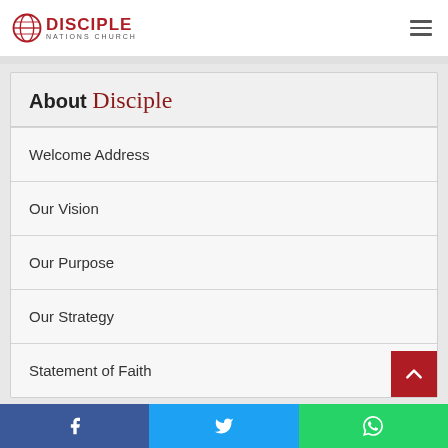DISCIPLE NATIONS CHURCH
About Disciple
Welcome Address
Our Vision
Our Purpose
Our Strategy
Statement of Faith